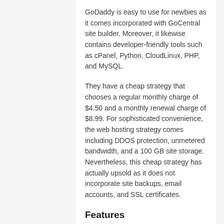GoDaddy is easy to use for newbies as it comes incorporated with GoCentral site builder. Moreover, it likewise contains developer-friendly tools such as cPanel, Python, CloudLinux, PHP, and MySQL.
They have a cheap strategy that chooses a regular monthly charge of $4.50 and a monthly renewal charge of $8.99. For sophisticated convenience, the web hosting strategy comes including DDOS protection, unmetered bandwidth, and a 100 GB site storage. Nevertheless, this cheap strategy has actually upsold as it does not incorporate site backups, email accounts, and SSL certificates.
Features